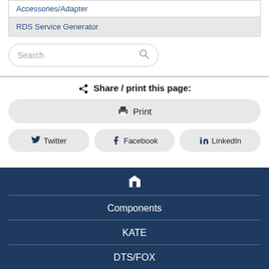| Accessories/Adapter |
| RDS Service Generator |
Search
Share / print this page:
Print
Twitter
Facebook
LinkedIn
Components
KATE
DTS/FOX